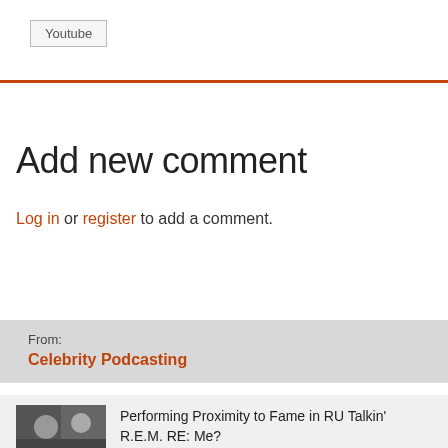Youtube
Add new comment
Log in or register to add a comment.
From:
Celebrity Podcasting
Performing Proximity to Fame in RU Talkin' R.E.M. RE: Me?